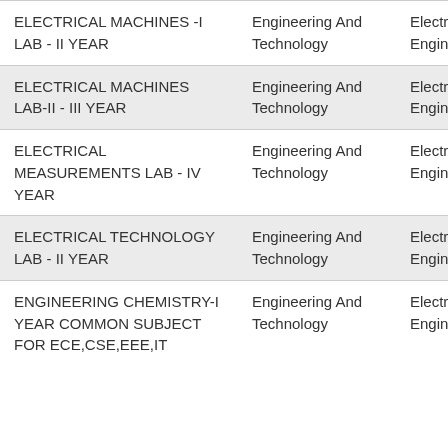| Course | Faculty | Department |
| --- | --- | --- |
| ELECTRICAL MACHINES -I LAB - II YEAR | Engineering And Technology | Electri Electro Engine |
| ELECTRICAL MACHINES LAB-II - III YEAR | Engineering And Technology | Electri Electro Engine |
| ELECTRICAL MEASUREMENTS LAB - IV YEAR | Engineering And Technology | Electri Electro Engine |
| ELECTRICAL TECHNOLOGY LAB - II YEAR | Engineering And Technology | Electri Electro Engine |
| ENGINEERING CHEMISTRY-I YEAR COMMON SUBJECT FOR ECE,CSE,EEE,IT | Engineering And Technology | Electri Electro Engine |